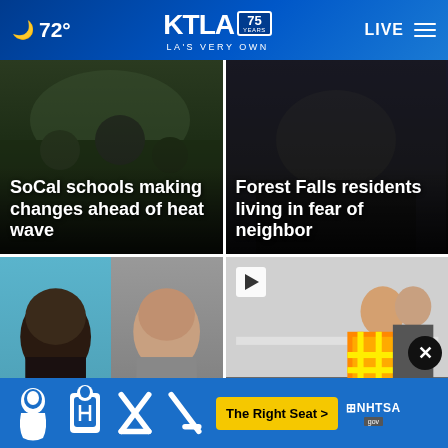🌙 72° | KTLA 75 YEARS | LA'S VERY OWN | LIVE
[Figure (screenshot): News card: SoCal schools making changes ahead of heat wave — nighttime school scene]
[Figure (screenshot): News card: Forest Falls residents living in fear of neighbor — dark scene]
[Figure (screenshot): News card: West Hollywood chi... acc... — mugshot style side profile photos]
[Figure (screenshot): News card with play button: Teen lose[s] arm — worker in orange safety vest, with close (X) button overlay]
[Figure (infographic): NHTSA 'The Right Seat' ad banner with car seat icons in blue background]